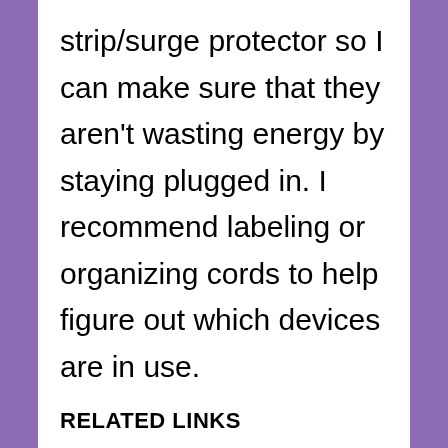strip/surge protector so I can make sure that they aren't wasting energy by staying plugged in. I recommend labeling or organizing cords to help figure out which devices are in use.
RELATED LINKS